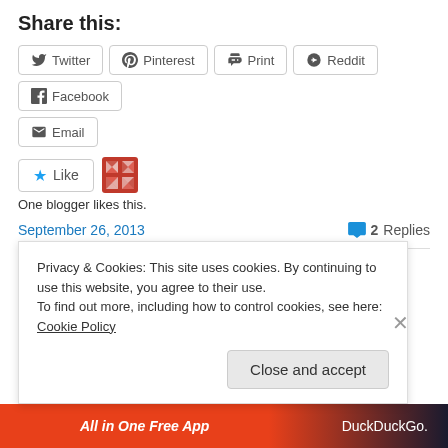Share this:
Twitter | Pinterest | Print | Reddit | Facebook
Email
Like | One blogger likes this.
September 26, 2013 — 2 Replies
Bar Hop in Seattle, Part I
Privacy & Cookies: This site uses cookies. By continuing to use this website, you agree to their use. To find out more, including how to control cookies, see here: Cookie Policy
Close and accept
All in One Free App | DuckDuckGo.